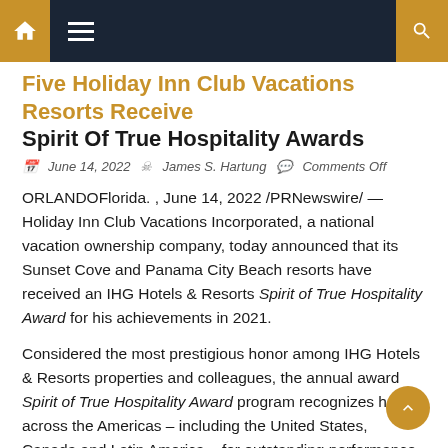Navigation bar with home, menu, and search icons
Five Holiday Inn Club Vacations Resorts Receive Spirit Of True Hospitality Awards
June 14, 2022  James S. Hartung  Comments Off
ORLANDOFlorida. , June 14, 2022 /PRNewswire/ — Holiday Inn Club Vacations Incorporated, a national vacation ownership company, today announced that its Sunset Cove and Panama City Beach resorts have received an IHG Hotels & Resorts Spirit of True Hospitality Award for his achievements in 2021.
Considered the most prestigious honor among IHG Hotels & Resorts properties and colleagues, the annual award Spirit of True Hospitality Award program recognizes hotels across the Americas – including the United States, Canada and Latin America – for outstanding performance across several key customer criteria, including cleanliness and service and overall customer satisfaction.